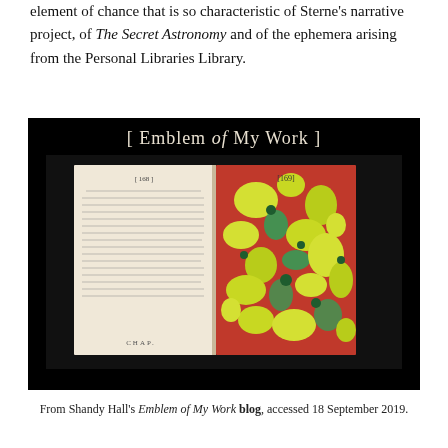element of chance that is so characteristic of Sterne's narrative project, of The Secret Astronomy and of the ephemera arising from the Personal Libraries Library.
[Figure (photo): Photograph of an open book spread showing pages 168 and 169 of what appears to be Tristram Shandy, with page 169 being a marbled paper page in red, yellow and green. The image is titled '[ Emblem of My Work ]' displayed in white/cream text on a black background.]
From Shandy Hall's Emblem of My Work blog, accessed 18 September 2019.